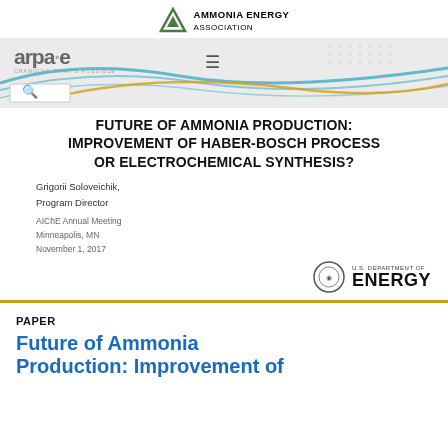[Figure (logo): Ammonia Energy Association logo with green triangle and text]
[Figure (screenshot): ARPA-E website banner with wavy colored lines, logo, hamburger menu, and search icon]
FUTURE OF AMMONIA PRODUCTION: IMPROVEMENT OF HABER-BOSCH PROCESS OR ELECTROCHEMICAL SYNTHESIS?
Grigorii Soloveichik,
Program Director
AIChE Annual Meeting
Minneapolis, MN
November 1, 2017
[Figure (logo): U.S. Department of Energy logo]
PAPER
Future of Ammonia Production: Improvement of